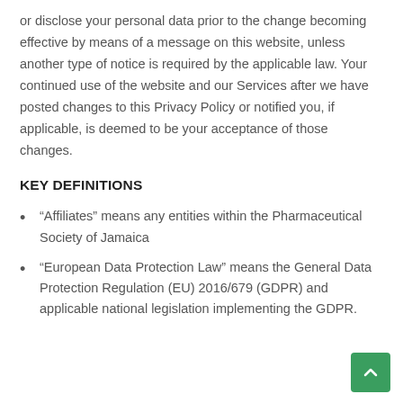or disclose your personal data prior to the change becoming effective by means of a message on this website, unless another type of notice is required by the applicable law. Your continued use of the website and our Services after we have posted changes to this Privacy Policy or notified you, if applicable, is deemed to be your acceptance of those changes.
KEY DEFINITIONS
“Affiliates” means any entities within the Pharmaceutical Society of Jamaica
“European Data Protection Law” means the General Data Protection Regulation (EU) 2016/679 (GDPR) and applicable national legislation implementing the GDPR.